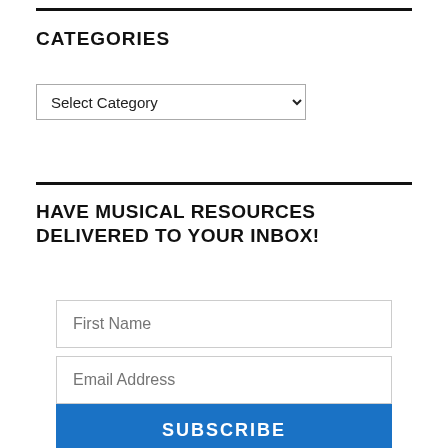CATEGORIES
[Figure (screenshot): A dropdown select box with placeholder text 'Select Category' and a dropdown arrow on the right]
HAVE MUSICAL RESOURCES DELIVERED TO YOUR INBOX!
[Figure (screenshot): A subscription form with a First Name text input, an Email Address text input, and a blue SUBSCRIBE button]